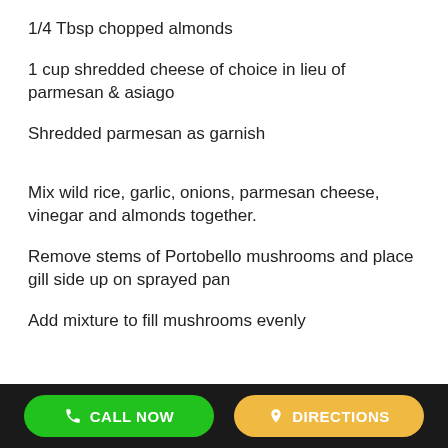1/4 Tbsp chopped almonds
1 cup shredded cheese of choice in lieu of parmesan & asiago
Shredded parmesan as garnish
Mix wild rice, garlic, onions, parmesan cheese, vinegar and almonds together.
Remove stems of Portobello mushrooms and place gill side up on sprayed pan
Add mixture to fill mushrooms evenly
CALL NOW   DIRECTIONS